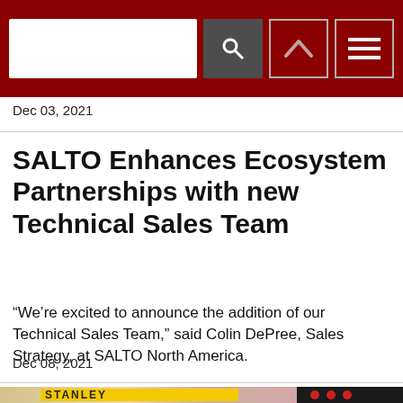Dec 03, 2021
SALTO Enhances Ecosystem Partnerships with new Technical Sales Team
“We’re excited to announce the addition of our Technical Sales Team,” said Colin DePree, Sales Strategy, at SALTO North America.
Dec 08, 2021
[Figure (photo): Partial view of a STANLEY branded promotional image with colorful abstract shapes and logo elements visible at the bottom of the page]